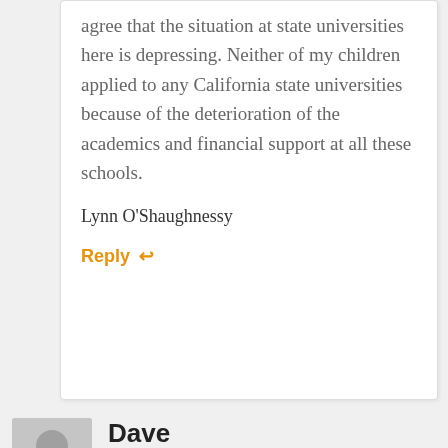…As a California resident, I agree that the situation at state universities here is depressing. Neither of my children applied to any California state universities because of the deterioration of the academics and financial support at all these schools.
Lynn O'Shaughnessy
Reply ↩
[Figure (illustration): Generic user avatar placeholder icon — grey square with silhouette of a person]
Dave
JUNE 5, 2012 AT 6:51 PM